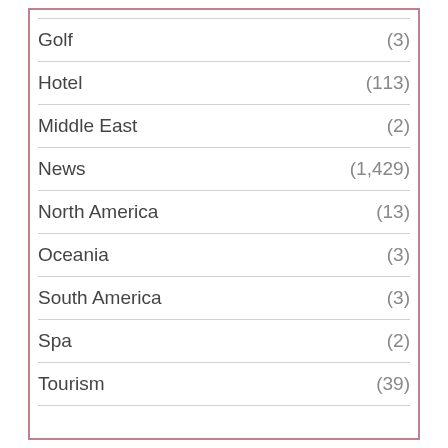Golf (3)
Hotel (113)
Middle East (2)
News (1,429)
North America (13)
Oceania (3)
South America (3)
Spa (2)
Tourism (39)